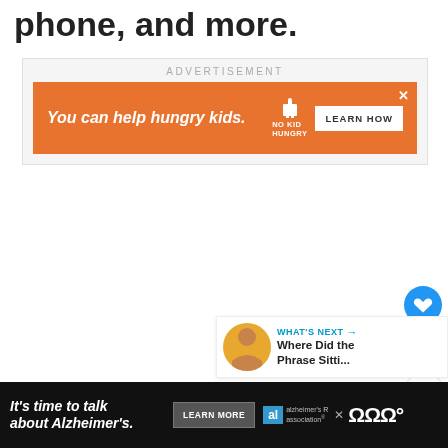phone, and more.
[Figure (screenshot): Orange advertisement banner: 'You can help hungry kids.' with No Kid Hungry logo and LEARN HOW button]
[Figure (infographic): Heart/like button (blue circle), count of 1, and share button on right side of page]
[Figure (infographic): WHAT'S NEXT panel with thumbnail and title 'Where Did the Phrase Sitti...']
[Figure (screenshot): Bottom black banner advertisement: 'It's time to talk about Alzheimer's.' with LEARN MORE button and Alzheimer's Association logo]